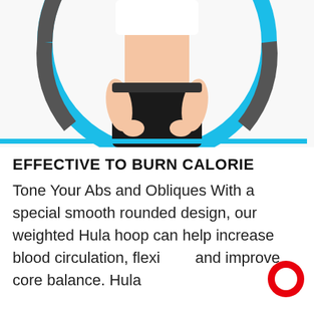[Figure (photo): A person wearing white sports bra and black shorts holding a blue and gray weighted hula hoop around their midsection, on a white background. A blue horizontal accent line appears at the bottom of the image.]
EFFECTIVE TO BURN CALORIE
Tone Your Abs and Obliques With a special smooth rounded design, our weighted Hula hoop can help increase blood circulation, flexibility and improve core balance. Hula